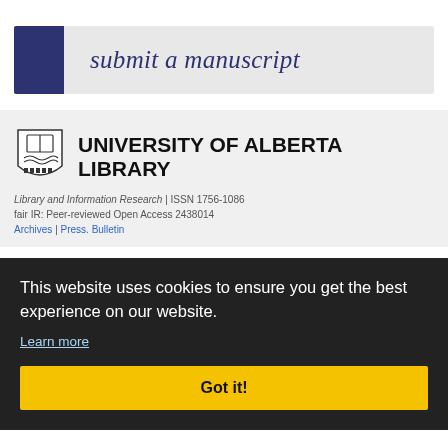[Figure (infographic): Submit a manuscript banner with dark blue square on left and italic text 'submit a manuscript' on grey background]
[Figure (logo): University of Alberta Library shield logo with text 'UNIVERSITY OF ALBERTA LIBRARY']
Library and Information Research | ISSN 1756-1086
This website uses cookies to ensure you get the best experience on our website.
Learn more
Got it!